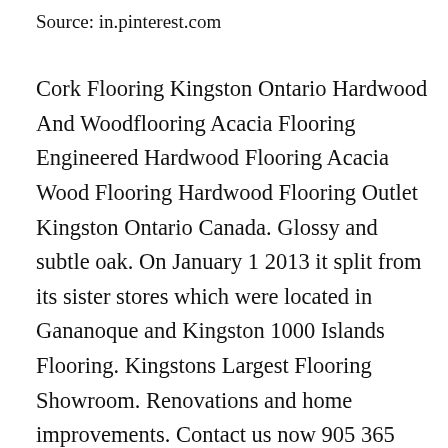Source: in.pinterest.com
Cork Flooring Kingston Ontario Hardwood And Woodflooring Acacia Flooring Engineered Hardwood Flooring Acacia Wood Flooring Hardwood Flooring Outlet Kingston Ontario Canada. Glossy and subtle oak. On January 1 2013 it split from its sister stores which were located in Gananoque and Kingston 1000 Islands Flooring. Kingstons Largest Flooring Showroom. Renovations and home improvements. Contact us now 905 365 0064 for get your